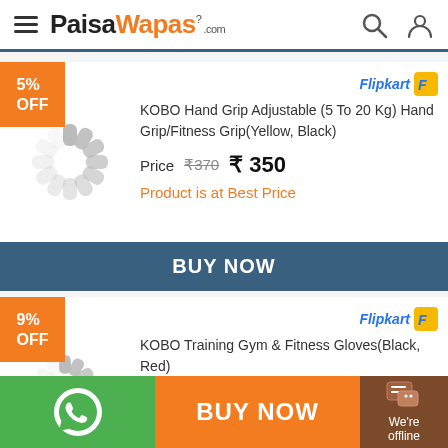PaisaWapas.com
5% OFF
Flipkart
KOBO Hand Grip Adjustable (5 To 20 Kg) Hand Grip/Fitness Grip(Yellow, Black)
Price ₹370 ₹ 350
Product is at Best Price
BUY NOW
9% OFF
Flipkart
KOBO Training Gym & Fitness Gloves(Black, Red)
BUY NOW | We're offline